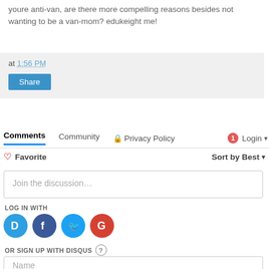youre anti-van, are there more compelling reasons besides not wanting to be a van-mom? edukeight me!
at 1:56 PM
Share
Comments  Community  Privacy Policy  Login
Favorite    Sort by Best
Join the discussion…
LOG IN WITH
OR SIGN UP WITH DISQUS
Name